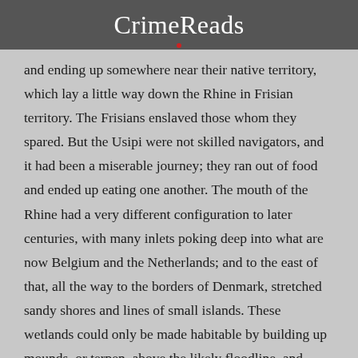CrimeReads
and ending up somewhere near their native territory, which lay a little way down the Rhine in Frisian territory. The Frisians enslaved those whom they spared. But the Usipi were not skilled navigators, and it had been a miserable journey; they ran out of food and ended up eating one another. The mouth of the Rhine had a very different configuration to later centuries, with many inlets poking deep into what are now Belgium and the Netherlands; and to the east of that, all the way to the borders of Denmark, stretched sandy shores and lines of small islands. These wetlands could only be made habitable by building up mounds, or terpen, above the likely floodline, and some